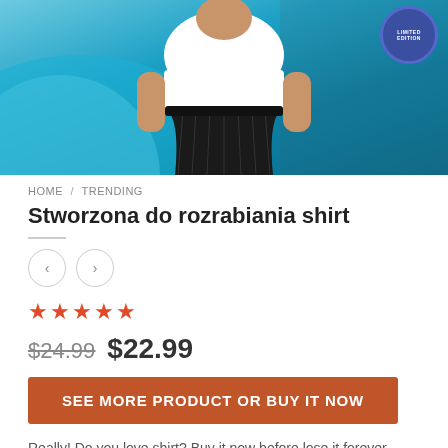[Figure (photo): Product photo of a woman wearing a white top and black pleated skirt against a teal/blue background with a limited edition badge in the top right corner]
HOME / TRENDING
Stworzona do rozrabiania shirt
[Figure (other): Navigation left and right arrow buttons (circular)]
[Figure (other): Five star rating in red/orange stars]
$24.99  $22.99
SEE MORE PRODUCT OR BUY IT NOW
Really! Do you love shirt? Buy it now before lose it forever. Stworzona do rozrabiania shirt. Limited edition, available on